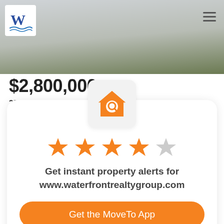[Figure (screenshot): Real estate website header photo showing exterior of house with lawn, overlaid with logo and hamburger menu icon]
$2,800,000
220006271 MLS
[Figure (logo): Orange house icon with magnifying glass search symbol inside, on light grey rounded square background]
[Figure (other): 4 filled orange stars and 1 empty grey star rating display]
Get instant property alerts for www.waterfrontrealtygroup.com
Get the MoveTo App
Not Now